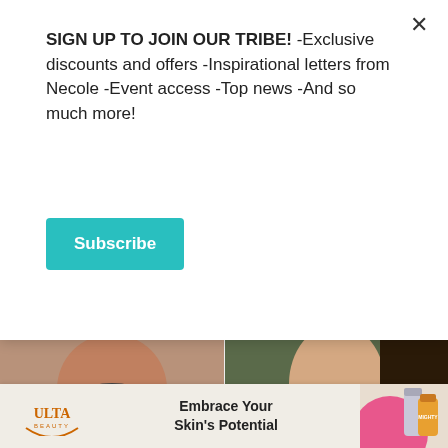SIGN UP TO JOIN OUR TRIBE! -Exclusive discounts and offers -Inspirational letters from Necole -Event access -Top news -And so much more!
Subscribe
[Figure (photo): Close-up of man's lower face with beard]
[Figure (photo): Close-up of young man's lower face]
The Real Cause Of Kevin Samuels' Death Finally Revealed
The Truth About Donald Trump's Son Is Out Now & We're Surprised
[Figure (photo): Bald man looking forward]
[Figure (photo): Young man with short hair]
[Figure (photo): Ulta Beauty ad with skincare products - Embrace Your Skin's Potential]